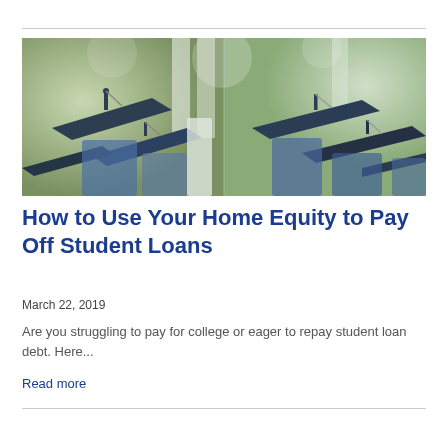[Figure (photo): Graduation ceremony photo showing multiple students in dark mortarboard caps from behind, blurred bokeh background with trees and columns]
How to Use Your Home Equity to Pay Off Student Loans
March 22, 2019
Are you struggling to pay for college or eager to repay student loan debt. Here...
Read more